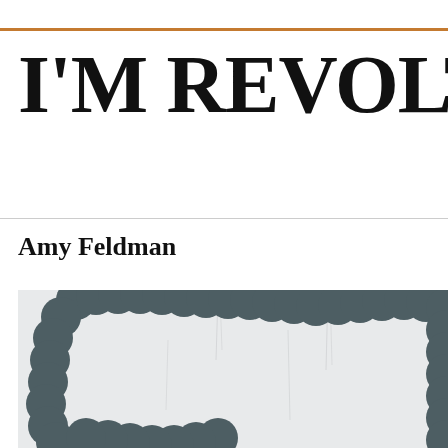I'M REVOLTING
Amy Feldman
[Figure (illustration): A painting showing a large undulating chain-like or bubble-like form in dark slate grey/green color, arranged in a loose rectangular loop shape against a light grey-white background. The bubbles are rounded and interconnected, resembling a colon or intestinal shape. The background shows faint vertical drip marks in white/light grey.]